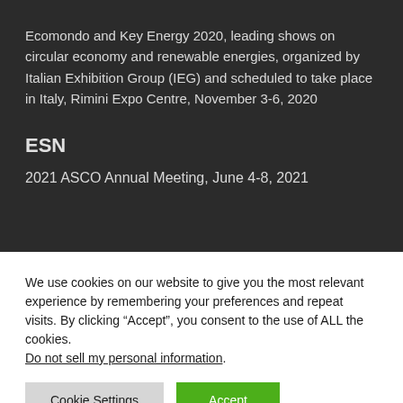Ecomondo and Key Energy 2020, leading shows on circular economy and renewable energies, organized by Italian Exhibition Group (IEG) and scheduled to take place in Italy, Rimini Expo Centre, November 3-6, 2020
ESN
2021 ASCO Annual Meeting, June 4-8, 2021
We use cookies on our website to give you the most relevant experience by remembering your preferences and repeat visits. By clicking “Accept”, you consent to the use of ALL the cookies.
Do not sell my personal information.
Cookie Settings
Accept